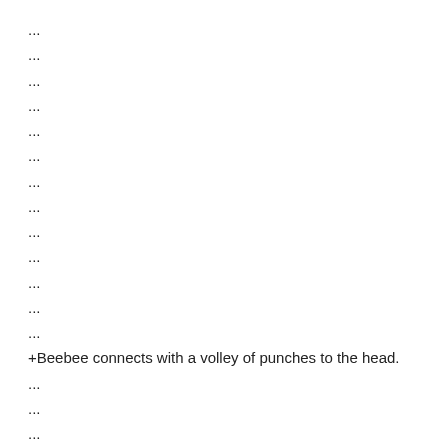...
...
...
...
...
...
...
...
...
...
...
...
...
+Beebee connects with a volley of punches to the head.
...
...
...
-Beebee tries a series of right blows to the jaw, but flails uselessly.